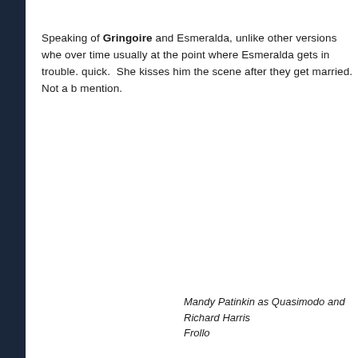Speaking of Gringoire and Esmeralda, unlike other versions whe... over time usually at the point where Esmeralda gets in trouble. quick.  She kisses him the scene after they get married. Not a b... mention.
Mandy Patinkin as Quasimodo and Richard Harris as Frollo